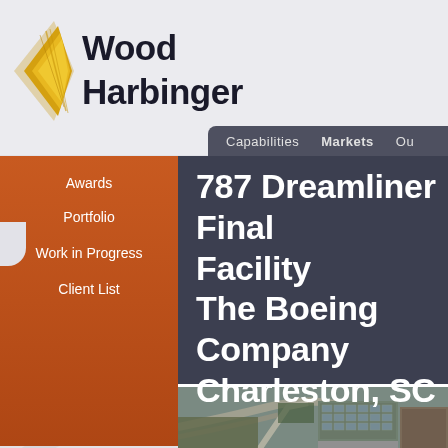[Figure (logo): Wood Harbinger logo with gold/yellow geometric wing-like shape and dark text 'Wood Harbinger']
Capabilities   Markets   Ou
Awards
Portfolio
Work in Progress
Client List
787 Dreamliner Final Facility The Boeing Company Charleston, SC
[Figure (photo): Aerial photograph of Boeing 787 Dreamliner Final Assembly Facility in Charleston, SC showing large industrial buildings, roads, and parking areas]